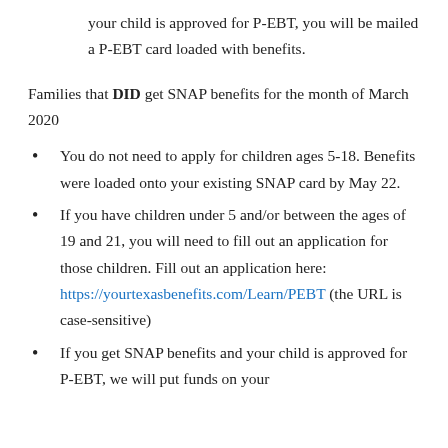your child is approved for P-EBT, you will be mailed a P-EBT card loaded with benefits.
Families that DID get SNAP benefits for the month of March 2020
You do not need to apply for children ages 5-18. Benefits were loaded onto your existing SNAP card by May 22.
If you have children under 5 and/or between the ages of 19 and 21, you will need to fill out an application for those children. Fill out an application here: https://yourtexasbenefits.com/Learn/PEBT (the URL is case-sensitive)
If you get SNAP benefits and your child is approved for P-EBT, we will put funds on your